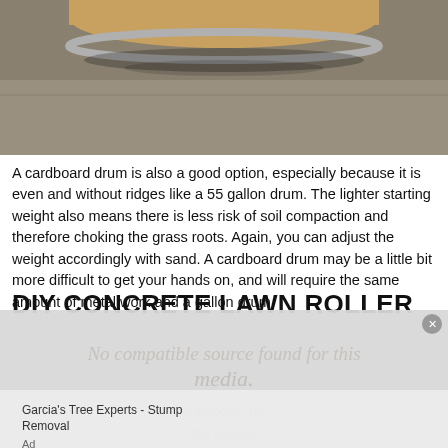[Figure (photo): Bottom portion of a cardboard or metal drum/roller resting on a concrete surface, showing rounded bottom and silver rim]
A cardboard drum is also a good option, especially because it is even and without ridges like a 55 gallon drum. The lighter starting weight also means there is less risk of soil compaction and therefore choking the grass roots. Again, you can adjust the weight accordingly with sand. A cardboard drum may be a little bit more difficult to get your hands on, and will require the same amount of metal work and a gallon drum.
DIY CONCRETE LAWN ROLLER
[Figure (screenshot): Advertisement overlay: Garcia's Tree Experts - Stump Removal ad with Visit Site button in red, and italic background text about choosing the perfect roller]